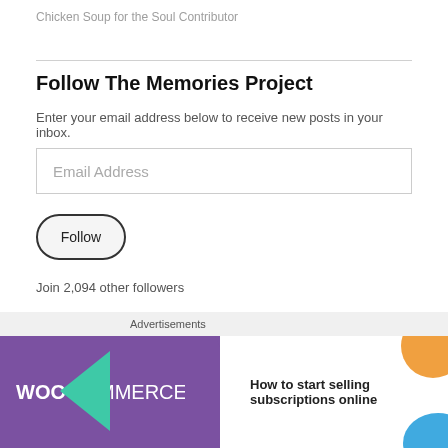Chicken Soup for the Soul Contributor
Follow The Memories Project
Enter your email address below to receive new posts in your inbox.
Email Address
Follow
Join 2,094 other followers
Search
[Figure (screenshot): WooCommerce advertisement banner: 'How to start selling subscriptions online']